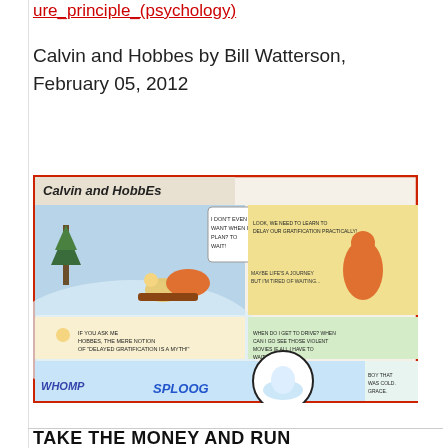ure_principle_(psychology)
Calvin and Hobbes by Bill Watterson, February 05, 2012
[Figure (illustration): Calvin and Hobbes comic strip by Bill Watterson dated February 05, 2012. Multi-panel color comic showing Calvin and Hobbes sledding down a snowy hill, discussing gratification, with sound effects SPLOOG and WHOMP, ending with a snowball scene.]
TAKE THE MONEY AND RUN